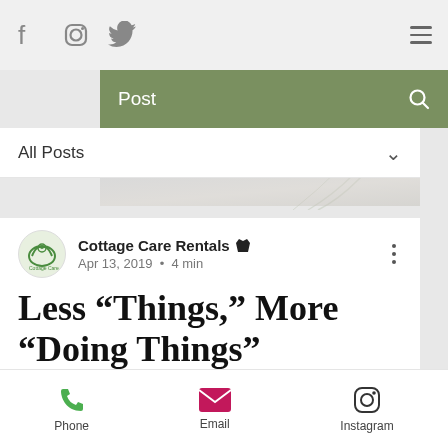Social icons: Facebook, Instagram, Twitter; Hamburger menu
Post
All Posts
Cottage Care Rentals · Apr 13, 2019 · 4 min
Less “Things,” More “Doing Things” Together.
Updated: Apr 14, 2019
Phone   Email   Instagram